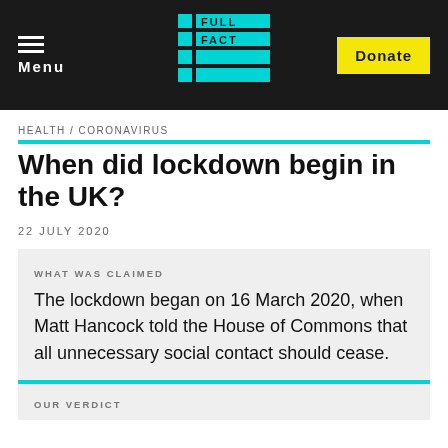Menu | FULL FACT | Donate
HEALTH / CORONAVIRUS
When did lockdown begin in the UK?
22 JULY 2020
WHAT WAS CLAIMED
The lockdown began on 16 March 2020, when Matt Hancock told the House of Commons that all unnecessary social contact should cease.
OUR VERDICT